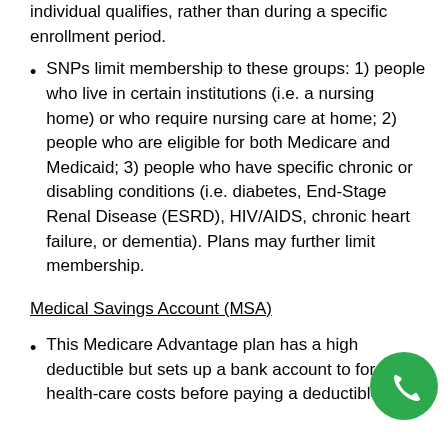individual qualifies, rather than during a specific enrollment period.
SNPs limit membership to these groups: 1) people who live in certain institutions (i.e. a nursing home) or who require nursing care at home; 2) people who are eligible for both Medicare and Medicaid; 3) people who have specific chronic or disabling conditions (i.e. diabetes, End-Stage Renal Disease (ESRD), HIV/AIDS, chronic heart failure, or dementia). Plans may further limit membership.
Medical Savings Account (MSA)
This Medicare Advantage plan has a high deductible but sets up a bank account to for health-care costs before paying a deductible.